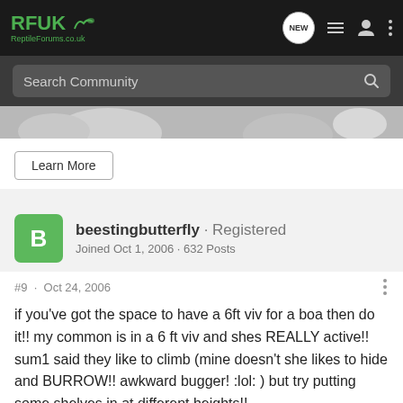RFUK Reptile Forums.co.uk
Search Community
[Figure (photo): Partial image strip showing reptile-related photo, cut off at top and bottom]
Learn More
beestingbutterfly · Registered
Joined Oct 1, 2006 · 632 Posts
#9 · Oct 24, 2006
if you've got the space to have a 6ft viv for a boa then do it!! my common is in a 6 ft viv and shes REALLY active!! sum1 said they like to climb (mine doesn't she likes to hide and BURROW!! awkward bugger! :lol: ) but try putting some shelves in at different heights!!